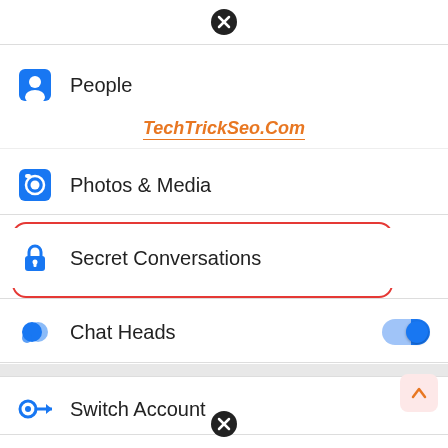[Figure (screenshot): Mobile app settings menu screenshot showing People, Photos & Media, Secret Conversations (highlighted in red box), Chat Heads (with toggle on), and Switch Account menu items. TechTrickSeo.Com watermark visible. Close buttons at top and bottom.]